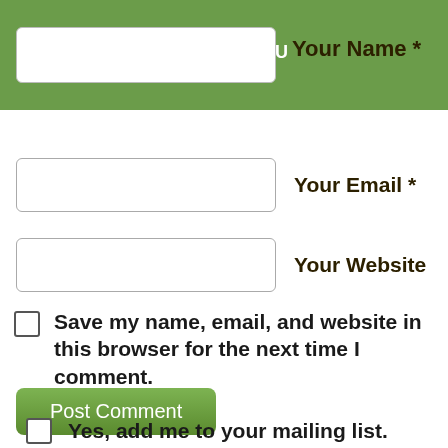≡ MENU  Your Name *
Your Email *
Your Website
Save my name, email, and website in this browser for the next time I comment.
Post Comment
Yes, add me to your mailing list.